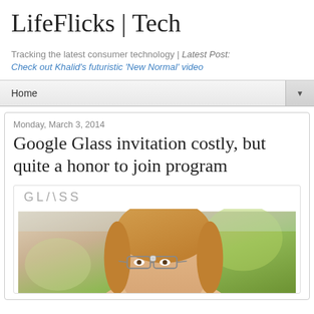LifeFlicks | Tech
Tracking the latest consumer technology | Latest Post: Check out Khalid's futuristic 'New Normal' video
Home
Monday, March 3, 2014
Google Glass invitation costly, but quite a honor to join program
[Figure (photo): Google Glass promotional image showing the Glass logo and a woman wearing Google Glass outdoors]